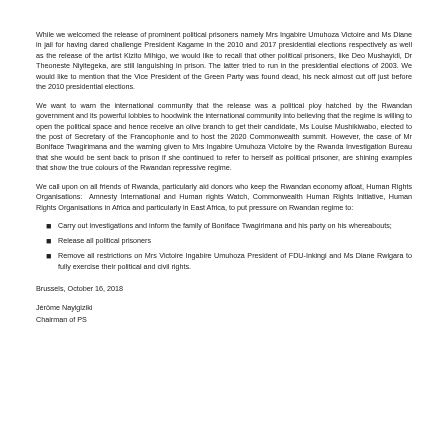While we welcomed the release of prominent political prisoners namely Mrs Ingabire Umuhoza Victoire and Ms Diane in jail for having dared challenge President Kagame in the 2010 and 2017 presidential elections respectively as well as the release of the artist Kizito Mihigo, we would like to recall that other political prisoners, like Deo Mushayidi, Dr Theoneste Niyitegeka, are still languishing in prison. The latter tried to run in the presidential elections of 2003. We would like to mention that the Vice President of the Green Party was found dead, his neck almost cut off just before the 2010 presidential elections.
We want to warn the international community that the release was a political ploy hatched by the Rwandan government and its powerful lobbies to hoodwink the international community into believing that the regime is willing to open the political space and hence receive an olive branch to get their candidate, Ms Louise Mushikiwabo, elected to the post of Secretary of the Francophonie and to host the 2020 Commonwealth summit. However, the case of Mr Boniface Twagirimana and the warning given to Mrs Ingabire Umuhoza Victoire by the Rwanda Investigation Bureau that she would be sent back to prison if she continued to refer to herself as political prisoner, are shining examples that show the true colours of the Rwandan repressive regime.
We call upon on all friends of Rwanda, particularly aid donors who keep the Rwandan economy afloat, Human Rights Organisations:  Amnesty International and Human rights Watch, Commonwealth Human Rights Initiative, Human Rights Organisations in Africa and particularly in East Africa, to put pressure on Rwandan regime to:
Carry out investigations and inform the family of Boniface Twagirimana and his party on his whereabouts;
Release all political prisoners
Remove all restrictions on Mrs Victoire Ingabire Umuhoza President of FDU-Inkingi and Ms Diane Rwigara to fully exercise their political and civil rights.
Brussels, October 16, 2018
Jérôme Nayigiziki
Chairman of PS